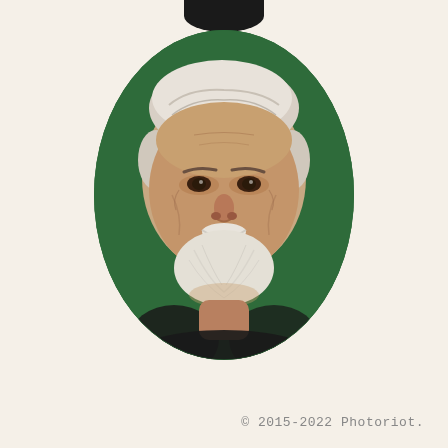[Figure (photo): Colorized oval portrait photograph of an elderly man with white hair and white beard, smiling gently, against a green background. A small black arc/element is visible at the very top center of the page above the oval frame.]
© 2015-2022 Photoriot.